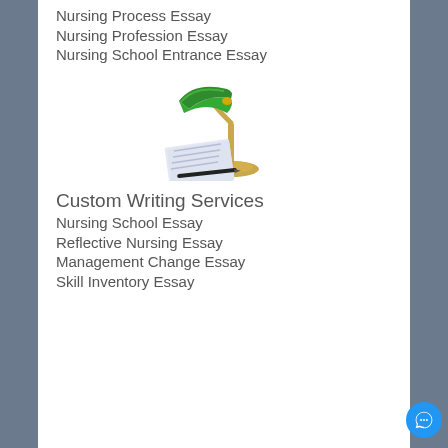Nursing Process Essay
Nursing Profession Essay
Nursing School Entrance Essay
[Figure (illustration): A banker's lamp with green shade and brass base, with a document/paper and a pen underneath it, representing writing services.]
Custom Writing Services
Nursing School Essay
Reflective Nursing Essay
Management Change Essay
Skill Inventory Essay